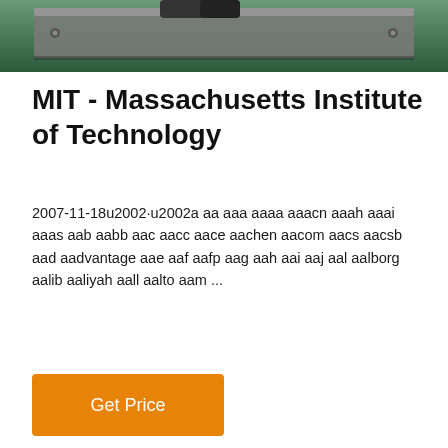[Figure (photo): Photo of metal industrial equipment parts on a green background, viewed from above]
MIT - Massachusetts Institute of Technology
2007-11-18u2002·u2002a aa aaa aaaa aaacn aaah aaai aaas aab aabb aac aacc aace aachen aacom aacs aacsb aad aadvantage aae aaf aafp aag aah aai aaj aal aalborg aalib aaliyah aall aalto aam ...
Get Price
[Figure (engineering-diagram): Engineering schematic diagram of a water treatment system with tanks, valves, piping including Auto Control Valves, Quartz Sand Filter, Activated Carbon Filter, Water Softener, and Fine Filter components]